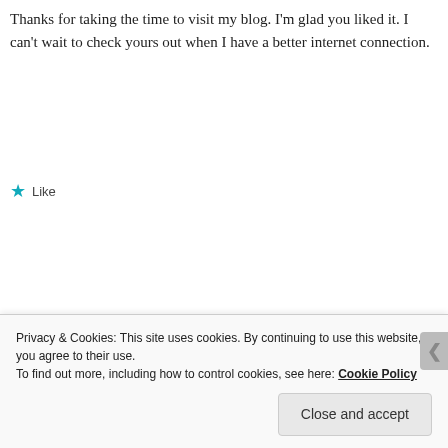Thanks for taking the time to visit my blog. I'm glad you liked it. I can't wait to check yours out when I have a better internet connection.
Like
Victor Tribunsky
March 26, 2012 at 11:00 pm  Reply
Just do this internet connection! 🙂
Privacy & Cookies: This site uses cookies. By continuing to use this website, you agree to their use.
To find out more, including how to control cookies, see here: Cookie Policy
Close and accept